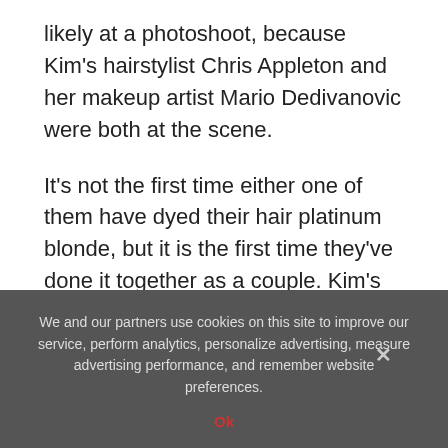likely at a photoshoot, because Kim's hairstylist Chris Appleton and her makeup artist Mario Dedivanovic were both at the scene.
It's not the first time either one of them have dyed their hair platinum blonde, but it is the first time they've done it together as a couple. Kim's hair looked particularly stunning with her recycled Dolce & Gabbana gown, who were basically the designers for Kourtney's entire wedding party.
We and our partners use cookies on this site to improve our service, perform analytics, personalize advertising, measure advertising performance, and remember website preferences.
Ok